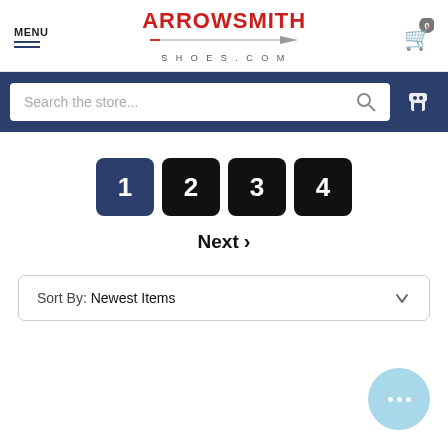ARROWSMITH SHOES.COM — navigation header with MENU, logo, and cart (0 items)
[Figure (screenshot): Search bar with placeholder 'Search the store...' and search icon, on dark blue background with phone icon button]
1 2 3 4 — pagination buttons, page 1 active
Next >
Sort By: Newest Items